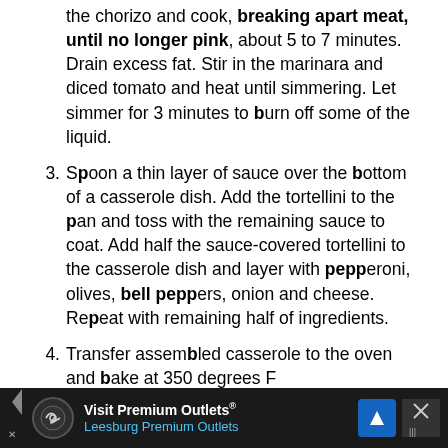the chorizo and cook, breaking apart meat, until no longer pink, about 5 to 7 minutes. Drain excess fat. Stir in the marinara and diced tomato and heat until simmering. Let simmer for 3 minutes to burn off some of the liquid.
3. Spoon a thin layer of sauce over the bottom of a casserole dish. Add the tortellini to the pan and toss with the remaining sauce to coat. Add half the sauce-covered tortellini to the casserole dish and layer with pepperoni, olives, bell peppers, onion and cheese. Repeat with remaining half of ingredients.
4. Transfer assembled casserole to the oven and bake at 350 degrees F...
[Figure (other): Advertisement banner for Visit Premium Outlets - Leesburg Premium Outlets with logo, navigation icon, and close button]